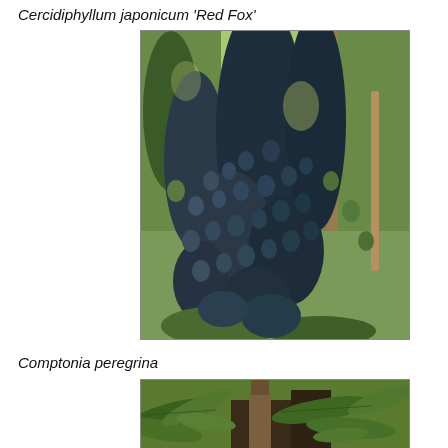Cercidiphyllum japonicum 'Red Fox'
[Figure (photo): Photograph of Cercidiphyllum japonicum 'Red Fox' showing a tree with dark blue-purple heart-shaped leaves densely covering weeping branches, set against a background of green conifers and tree trunks in a garden or natural setting.]
Comptonia peregrina
[Figure (photo): Photograph of Comptonia peregrina showing fern-like elongated green leaves with serrated edges on the plant, partially visible at the bottom of the page.]